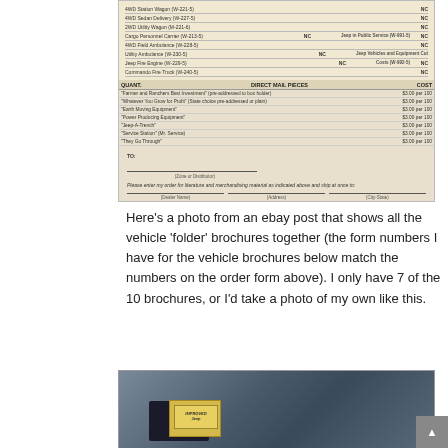[Figure (photo): Scanned order form for Jeep literature and merchandising materials. Shows vehicle listings (4WD Station Wagon, 4WD Sedan Delivery, 2WD Utility Wagon, Cargo Personnel Carrier, 4WD Field Ambulance, Utility Ambulance, Jeep Fire Engine, Commando Fire Truck) and Direct Mail Pieces section listing brochure titles with costs of $3.00 per 100. Bottom has fields for Zone or Distributor, Dealer Name, Address, and City-State.]
Here's a photo from an ebay post that shows all the vehicle 'folder' brochures together (the form numbers I have for the vehicle brochures below match the numbers on the order form above). I only have 7 of the 10 brochures, or I'd take a photo of my own like this.
[Figure (photo): Photo of Jeep brochures/folders in a binder on a surface. A yellow Jeep brochure labeled 'Jeep' is visible along with a dark binder and several folder pages.]